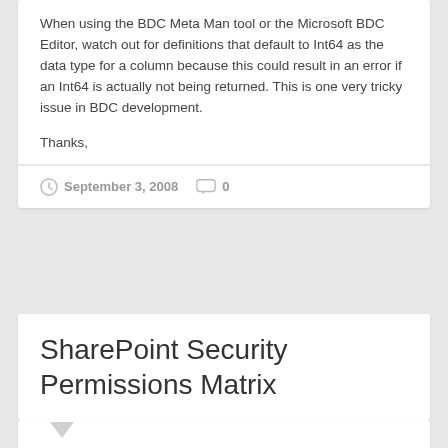When using the BDC Meta Man tool or the Microsoft BDC Editor, watch out for definitions that default to Int64 as the data type for a column because this could result in an error if an Int64 is actually not being returned. This is one very tricky issue in BDC development.
Thanks,
September 3, 2008   0
SharePoint Security Permissions Matrix
It looks like an MSDN article that is really useful is